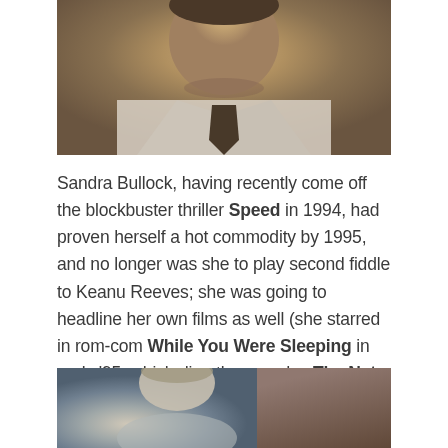[Figure (photo): Close-up photo of a man in a white shirt and dark tie, cropped at shoulders level, muted warm tones]
Sandra Bullock, having recently come off the blockbuster thriller Speed in 1994, had proven herself a hot commodity by 1995, and no longer was she to play second fiddle to Keanu Reeves; she was going to headline her own films as well (she starred in rom-com While You Were Sleeping in early '95, which directly precedes The Net in her filmography). Here, Bullock strikes a nice balance, coming off simultaneously strong and vulnerable; she's believable as an unlikely heroine who's not quite comfortable in the body that she was born with.
[Figure (photo): Bottom portion of a photo showing a person, partially visible, with muted tones of blue-gray and warm brown]